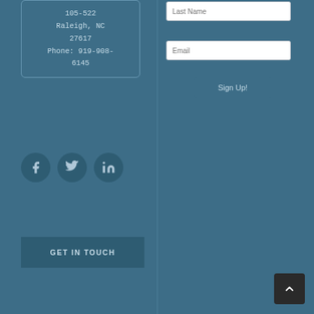105-522
Raleigh, NC
27617
Phone: 919-908-6145
[Figure (other): Social media icons: Facebook, Twitter, LinkedIn — circular dark blue buttons]
GET IN TOUCH
Last Name
Email
Sign Up!
[Figure (other): Back to top button with upward chevron arrow]